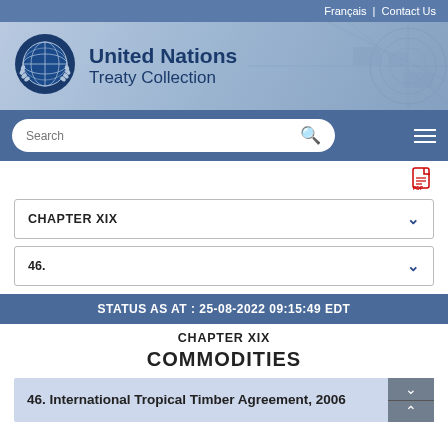Français | Contact Us
[Figure (logo): United Nations emblem logo (circular olive wreath with world map)]
United Nations Treaty Collection
Search
CHAPTER XIX
46.
STATUS AS AT : 25-08-2022 09:15:49 EDT
CHAPTER XIX
COMMODITIES
46. International Tropical Timber Agreement, 2006